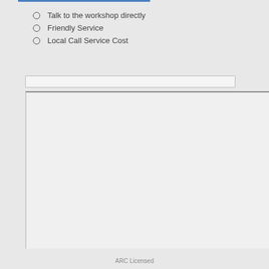Talk to the workshop directly
Friendly Service
Local Call Service Cost
[Figure (other): Empty input/search box with light background and thin border]
[Figure (other): Large empty content/image box with grey background, dark top border and left border]
ARC Licensed